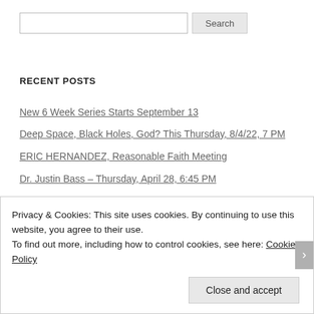[Search input and button]
RECENT POSTS
New 6 Week Series Starts September 13
Deep Space, Black Holes, God? This Thursday, 8/4/22, 7 PM
ERIC HERNANDEZ, Reasonable Faith Meeting
Dr. Justin Bass – Thursday, April 28, 6:45 PM
Great opportunity for parents* this Tuesday, March 22, at 1 PM
Privacy & Cookies: This site uses cookies. By continuing to use this website, you agree to their use.
To find out more, including how to control cookies, see here: Cookie Policy
Close and accept